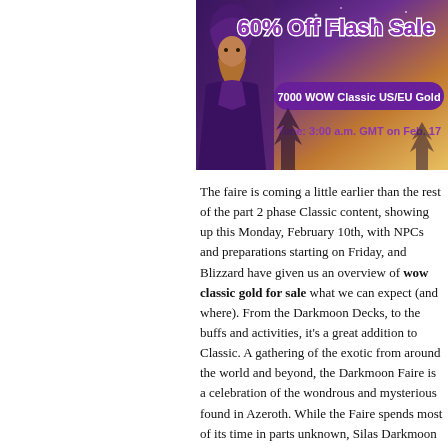[Figure (illustration): Banner advertisement for a WoW Classic gold flash sale. Features a fantasy wizard character on the left with a purple/orange gradient background. Text reads '60% Off Flash Sale', '7000 WOW Classic US/EU Gold', 'Time: 3:00 a.m. GMT on Feb. 17']
The faire is coming a little earlier than the rest of the part 2 phase Classic content, showing up this Monday, February 10th, with NPCs and preparations starting on Friday, and Blizzard have given us an overview of wow classic gold for sale what we can expect (and where). From the Darkmoon Decks, to the buffs and activities, it's a great addition to Classic. A gathering of the exotic from around the world and beyond, the Darkmoon Faire is a celebration of the wondrous and mysterious found in Azeroth. While the Faire spends most of its time in parts unknown, Silas Darkmoon and his enigmatic employees do stop from time to time in Mulgore and Elwynn Forest. When the Faire is on its way, barkers will stop by Orgrimmar and Ironforge to announce its arrival. Hear ye! Hear ye! The first Darkmoon Faire in WoW Classic begins on a Friday, February